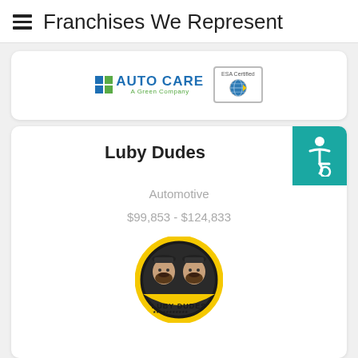Franchises We Represent
[Figure (logo): AUTO CARE A Green Company logo and ESA Certified badge from a partial card at top]
Luby Dudes
Automotive
$99,853 - $124,833
[Figure (logo): Luby Dudes franchise logo — two bearded men in caps inside a round yellow and dark badge]